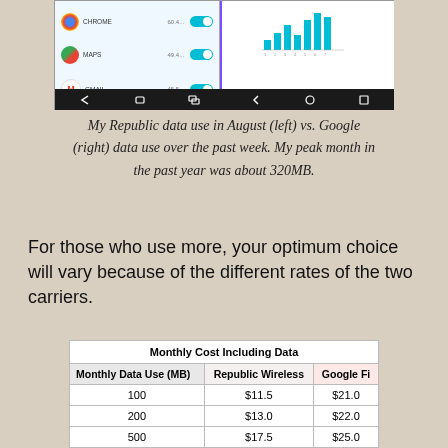[Figure (screenshot): Two smartphone screenshots side by side. Left shows Republic Wireless data usage for August with Chrome, Maps, Gmail apps listed with toggle switches. Right shows Google Fi data usage bar chart over past week. Below both screenshots is a dark navigation bar.]
My Republic data use in August (left) vs. Google (right) data use over the past week. My peak month in the past year was about 320MB.
For those who use more, your optimum choice will vary because of the different rates of the two carriers.
| Monthly Data Use (MB) | Republic Wireless | Google Fi |
| --- | --- | --- |
| 100 | $11.5 | $21.0 |
| 200 | $13.0 | $22.0 |
| 500 | $17.5 | $25.0 |